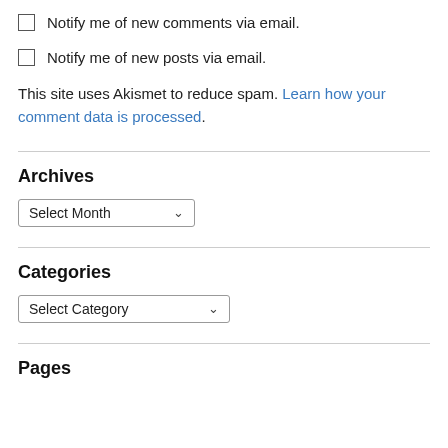Notify me of new comments via email.
Notify me of new posts via email.
This site uses Akismet to reduce spam. Learn how your comment data is processed.
Archives
Select Month
Categories
Select Category
Pages